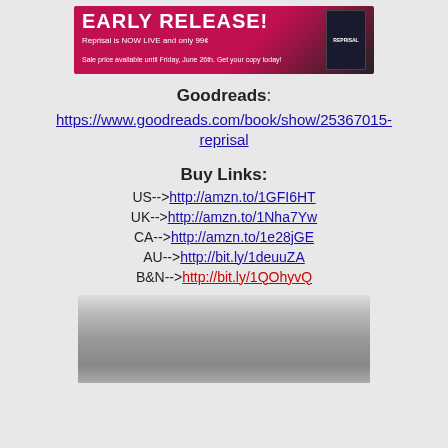[Figure (photo): Early Release banner for Reprisal book with red/dark background, bold white text 'EARLY RELEASE!', subtitle 'Reprisal is NOW LIVE and only 99¢', 'Sale price available until Friday, June 26th. Get your copy today!' and book cover image on right]
Goodreads: https://www.goodreads.com/book/show/25367015-reprisal
Buy Links: US-->http://amzn.to/1GFI6HT UK-->http://amzn.to/1Nha7Yw CA-->http://amzn.to/1e28jGE AU-->http://bit.ly/1deuuZA B&N-->http://bit.ly/1QOhyvQ
[Figure (photo): Black and white photo of a couple in an intimate embrace]